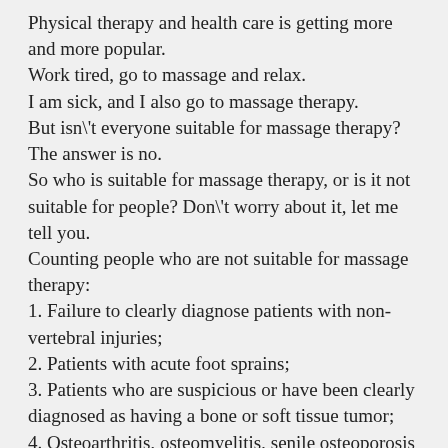Physical therapy and health care is getting more and more popular.
Work tired, go to massage and relax.
I am sick, and I also go to massage therapy.
But isn\'t everyone suitable for massage therapy? The answer is no.
So who is suitable for massage therapy, or is it not suitable for people? Don\'t worry about it, let me tell you.
Counting people who are not suitable for massage therapy:
1. Failure to clearly diagnose patients with non-vertebral injuries;
2. Patients with acute foot sprains;
3. Patients who are suspicious or have been clearly diagnosed as having a bone or soft tissue tumor;
4. Osteoarthritis, osteomyelitis, senile osteoporosis and other bone diseases;
5. Patients with severe heart, brain and lung diseases;
6. Hematological patients with bleeding tendency;
7. Patients with local skin lesions and skin diseases;